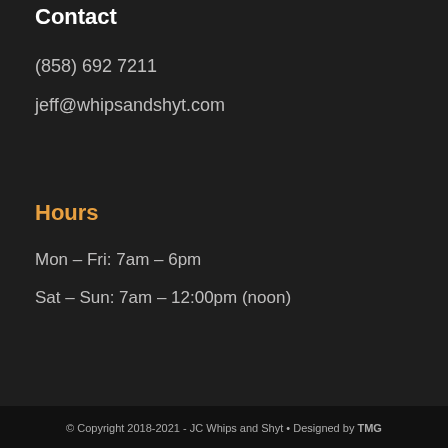Contact
(858) 692 7211
jeff@whipsandshyt.com
Hours
Mon – Fri: 7am – 6pm
Sat – Sun: 7am – 12:00pm (noon)
© Copyright 2018-2021 - JC Whips and Shyt • Designed by TMG